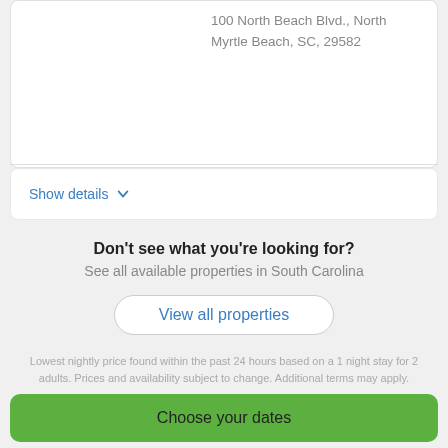100 North Beach Blvd., North Myrtle Beach, SC, 29582
Show details
Don't see what you're looking for?
See all available properties in South Carolina
View all properties
Lowest nightly price found within the past 24 hours based on a 1 night stay for 2 adults. Prices and availability subject to change. Additional terms may apply.
Choose your dates